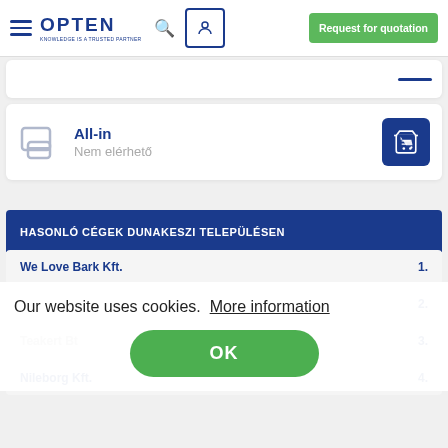[Figure (logo): OPTEN logo with hamburger menu, search icon, user icon, and Request for quotation green button in navigation bar]
[Figure (other): Partial card with blue underline at top right]
All-in
Nem elérhető
HASONLÓ CÉGEK DUNAKESZI TELEPÜLÉSEN
We Love Bark Kft.  1.
2.
Teakert Bt  3.
Nileborg Kft.  4.
Our website uses cookies.  More information
OK